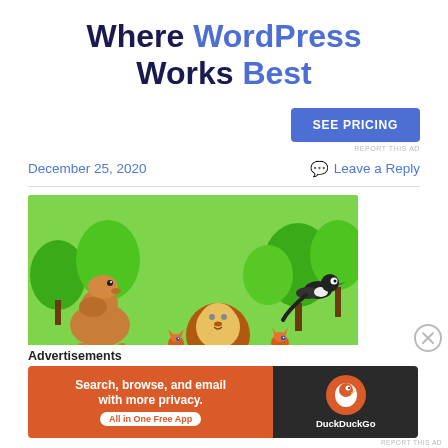Where WordPress Works Best
SEE PRICING
REPORT THIS AD
December 25, 2020
Leave a Reply
[Figure (illustration): 3D animated cartoon animals in a forest: camel, lion, two foxes, and a bird (magpie), with green trees in background]
Advertisements
[Figure (illustration): DuckDuckGo advertisement banner: orange left side with text 'Search, browse, and email with more privacy. All in One Free App' and dark right side with DuckDuckGo logo and name]